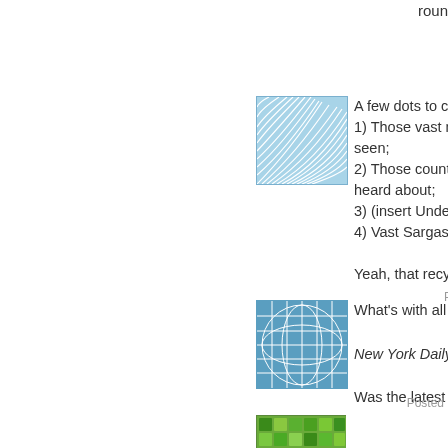roundworm parasites a
[Figure (illustration): Blue and white stylized leaf/feather pattern avatar icon]
A few dots to connect:
1) Those vast miles of landfill you've never seen;
2) Those countless UP trains you've never heard about;
3) (insert Underpants Gnome
4) Vast Sargasso Sea of plas

Yeah, that recycling really wo
P
[Figure (illustration): Blue grid/globe pattern avatar icon]
What's with all the beating up

New York Daily News: State n Organization…

Was the latest murdering nut
Posted
[Figure (illustration): Green mosaic/grid pattern avatar icon (partial)]